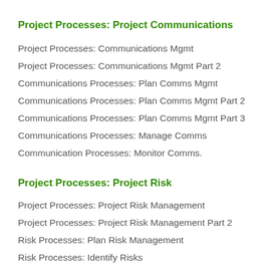Project Processes: Project Communications
Project Processes: Communications Mgmt
Project Processes: Communications Mgmt Part 2
Communications Processes: Plan Comms Mgmt
Communications Processes: Plan Comms Mgmt Part 2
Communications Processes: Plan Comms Mgmt Part 3
Communications Processes: Manage Comms
Communication Processes: Monitor Comms.
Project Processes: Project Risk
Project Processes: Project Risk Management
Project Processes: Project Risk Management Part 2
Risk Processes: Plan Risk Management
Risk Processes: Identify Risks
Risk Processes: Perform Qualitative Risk Analysis
Risk Processes: Perform Quantitative Risk Analysis